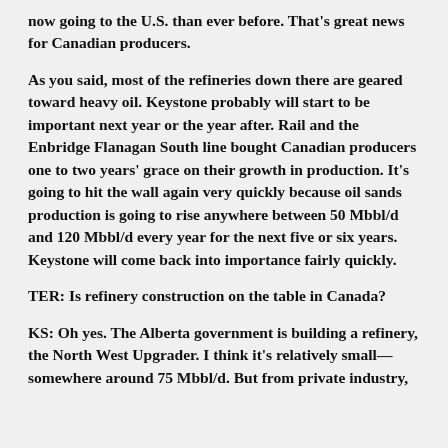now going to the U.S. than ever before. That's great news for Canadian producers.
As you said, most of the refineries down there are geared toward heavy oil. Keystone probably will start to be important next year or the year after. Rail and the Enbridge Flanagan South line bought Canadian producers one to two years' grace on their growth in production. It's going to hit the wall again very quickly because oil sands production is going to rise anywhere between 50 Mbbl/d and 120 Mbbl/d every year for the next five or six years. Keystone will come back into importance fairly quickly.
TER: Is refinery construction on the table in Canada?
KS: Oh yes. The Alberta government is building a refinery, the North West Upgrader. I think it's relatively small—somewhere around 75 Mbbl/d. But from private industry,